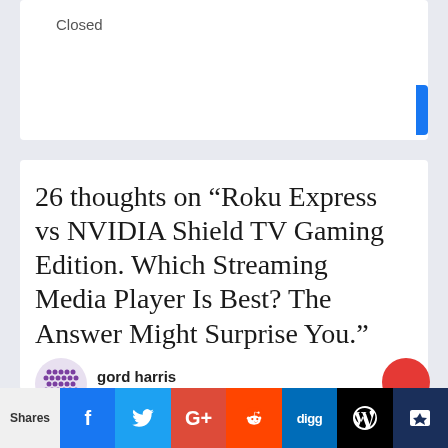Closed
26 thoughts on “Roku Express vs NVIDIA Shield TV Gaming Edition. Which Streaming Media Player Is Best? The Answer Might Surprise You.”
gord harris
December 10, 2018 at 1:38 PM
Shares  f  t  G+  reddit  digg  W  [crown]